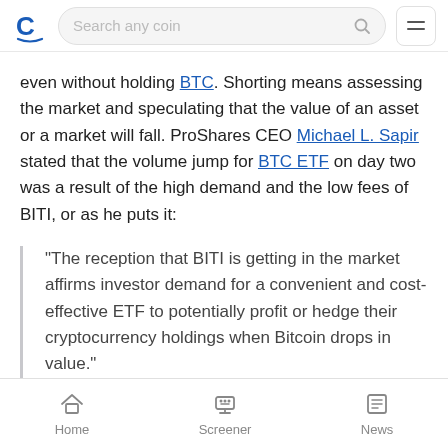Search any coin
even without holding BTC. Shorting means assessing the market and speculating that the value of an asset or a market will fall. ProShares CEO Michael L. Sapir stated that the volume jump for BTC ETF on day two was a result of the high demand and the low fees of BITI, or as he puts it:
“The reception that BITI is getting in the market affirms investor demand for a convenient and cost-effective ETF to potentially profit or hedge their cryptocurrency holdings when Bitcoin drops in value.”
Home  Screener  News